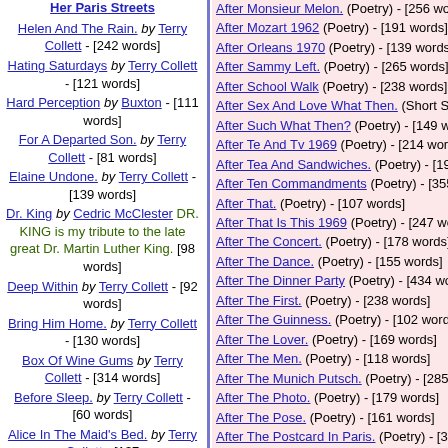Her Paris Streets
Helen And The Rain. by Terry Collett - [242 words]
Hating Saturdays by Terry Collett - [121 words]
Hard Perception by Buxton - [111 words]
For A Departed Son. by Terry Collett - [81 words]
Elaine Undone. by Terry Collett - [139 words]
Dr. King by Cedric McClester DR. KING is my tribute to the late great Dr. Martin Luther King. [98 words]
Deep Within by Terry Collett - [92 words]
Bring Him Home. by Terry Collett - [130 words]
Box Of Wine Gums by Terry Collett - [314 words]
Before Sleep. by Terry Collett - [60 words]
Alice In The Maid's Bed. by Terry Collett - [137
After Monsieur Melon. (Poetry) - [256 words]
After Mozart 1962 (Poetry) - [191 words]
After Orleans 1970 (Poetry) - [139 words]
After Sammy Left. (Poetry) - [265 words]
After School Walk (Poetry) - [238 words]
After Sex And Love What Then. (Short Stories
After Such What Then? (Poetry) - [149 words]
After Te And Tv 1969 (Poetry) - [214 words]
After Tea And Sandwiches. (Poetry) - [195 wo
After Ten Commandments (Poetry) - [355 wo
After That. (Poetry) - [107 words]
After That Is This 1969 (Poetry) - [247 words]
After The Concert. (Poetry) - [178 words]
After The Dance. (Poetry) - [155 words]
After The Dinner Party (Poetry) - [434 words]
After The First. (Poetry) - [238 words]
After The Guinness. (Poetry) - [102 words]
After The Lover. (Poetry) - [169 words]
After The Men. (Poetry) - [118 words]
After The Munich Putsch. (Poetry) - [285 wor
After The Photo. (Poetry) - [179 words]
After The Pose. (Poetry) - [161 words]
After The Postcard In Paris. (Poetry) - [338 w
After The Rike Ride. (Poetry) - [261 words]
After The Snow The Rain. (Poetry) - [349 wor